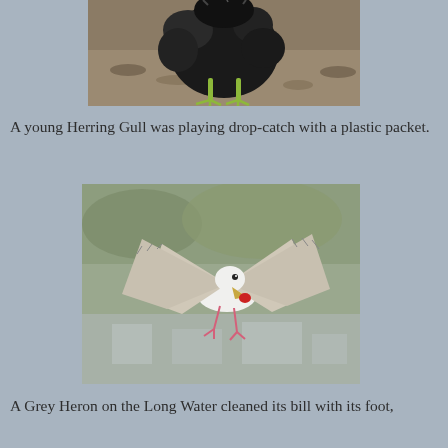[Figure (photo): Close-up photo of a small dark fluffy bird chick with yellow-green feet standing on gravelly ground.]
A young Herring Gull was playing drop-catch with a plastic packet.
[Figure (photo): Photo of a young Herring Gull in flight with wings spread wide, holding something red in its beak, with a blurred background of trees and buildings.]
A Grey Heron on the Long Water cleaned its bill with its foot,